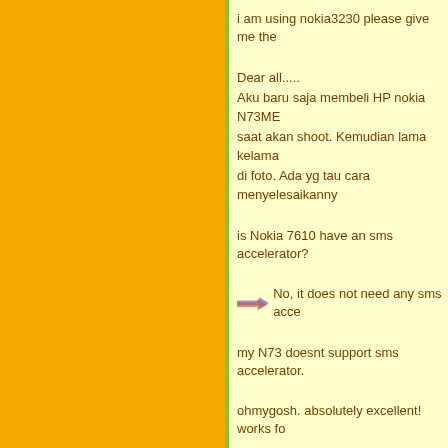i am using nokia3230 please give me the
Dear all.....
Aku baru saja membeli HP nokia N73ME saat akan shoot. Kemudian lama kelama di foto. Ada yg tau cara menyelesaikanny
is Nokia 7610 have an sms accelerator?
No, it does not need any sms acce
my N73 doesnt support sms accelerator.
ohmygosh. absolutely excellent! works fo
good solution